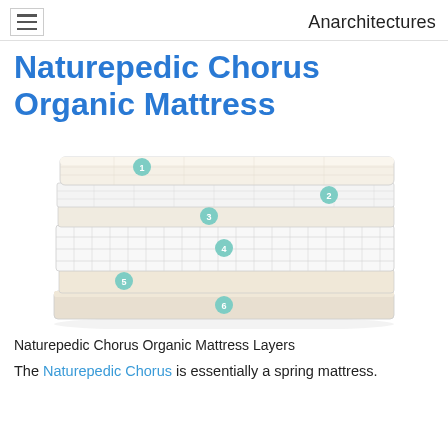Anarchitectures
Naturepedic Chorus Organic Mattress
[Figure (illustration): Exploded diagram of Naturepedic Chorus Organic Mattress showing 6 labeled layers stacked: layer 1 (top quilted cover), layer 2 (coil/spring layer), layer 3 (foam/padding), layer 4 (main coil spring layer), layer 5 (base foam), layer 6 (bottom foundation box). Teal numbered circles label each layer.]
Naturepedic Chorus Organic Mattress Layers
The Naturepedic Chorus is essentially a spring mattress.